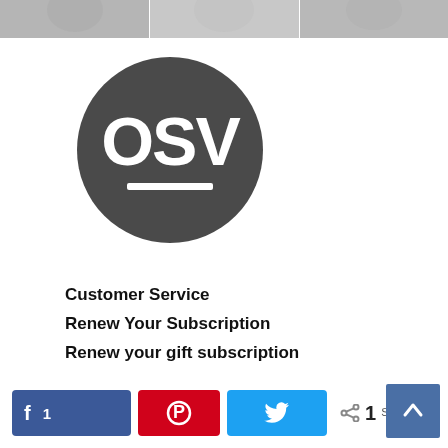[Figure (logo): OSV logo: dark gray circle with white letters OSV and a white underline bar]
Customer Service
Renew Your Subscription
Renew your gift subscription
[Figure (infographic): Social share bar with Facebook (1), Pinterest, Twitter buttons and share count of 1 SHARES, plus a back-to-top button]